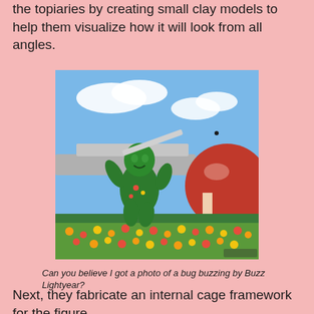the topiaries by creating small clay models to help them visualize how it will look from all angles.
[Figure (photo): A Buzz Lightyear topiary figure made of green plants and flowers, posed in a flying stance with one arm raised, set in front of a futuristic building with a large red sphere, surrounded by colorful flower beds, against a blue sky with clouds.]
Can you believe I got a photo of a bug buzzing by Buzz Lightyear?
Next, they fabricate an internal cage framework for the figure